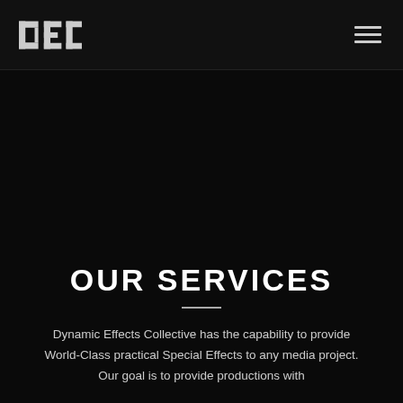DEC logo and navigation menu
OUR SERVICES
Dynamic Effects Collective has the capability to provide World-Class practical Special Effects to any media project. Our goal is to provide productions with